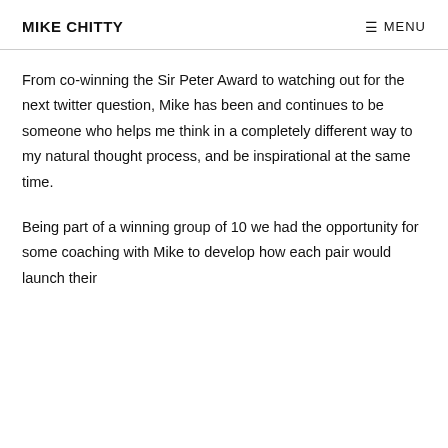MIKE CHITTY | MENU
From co-winning the Sir Peter Award to watching out for the next twitter question, Mike has been and continues to be someone who helps me think in a completely different way to my natural thought process, and be inspirational at the same time.
Being part of a winning group of 10 we had the opportunity for some coaching with Mike to develop how each pair would launch their